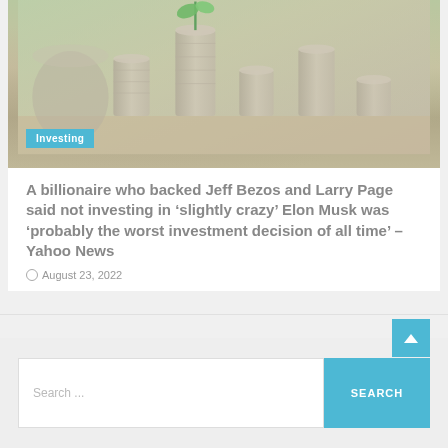[Figure (photo): Photo of stacked coins with small green plant sprouting from the largest stack, blurred green background, representing investment growth]
Investing
A billionaire who backed Jeff Bezos and Larry Page said not investing in ‘slightly crazy’ Elon Musk was ‘probably the worst investment decision of all time’ – Yahoo News
August 23, 2022